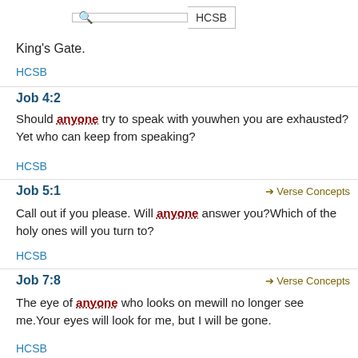[Figure (screenshot): Search bar with magnifying glass icon and HCSB label button]
King's Gate.
HCSB
Job 4:2
Should anyone try to speak with youwhen you are exhausted?Yet who can keep from speaking?
HCSB
Job 5:1
Call out if you please. Will anyone answer you?Which of the holy ones will you turn to?
HCSB
Job 7:8
The eye of anyone who looks on mewill no longer see me.Your eyes will look for me, but I will be gone.
HCSB